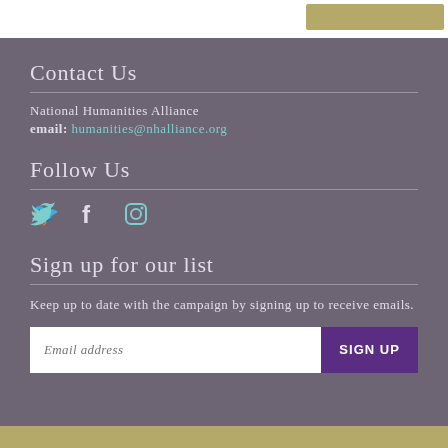Contact Us
National Humanities Alliance
email: humanities@nhalliance.org
Follow Us
[Figure (illustration): Social media icons: Twitter bird, Facebook F, and Instagram camera icons in teal/cyan color]
Sign up for our list
Keep up to date with the campaign by signing up to receive emails.
Email address [input field] SIGN UP [button]